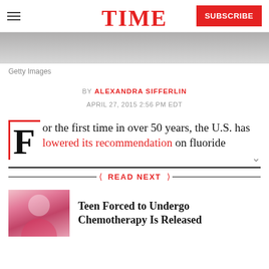TIME — SUBSCRIBE
[Figure (photo): Grayscale hero image band at top of article page]
Getty Images
BY ALEXANDRA SIFFERLIN
APRIL 27, 2015 2:56 PM EDT
For the first time in over 50 years, the U.S. has lowered its recommendation on fluoride
READ NEXT
Teen Forced to Undergo Chemotherapy Is Released